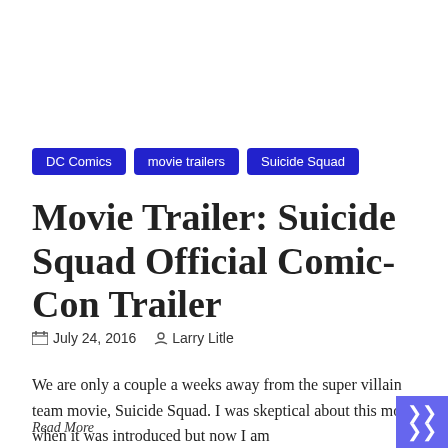DC Comics
movie trailers
Suicide Squad
Movie Trailer: Suicide Squad Official Comic-Con Trailer
July 24, 2016   Larry Litle
We are only a couple a weeks away from the super villain team movie, Suicide Squad. I was skeptical about this movie when it was introduced but now I am
Read More